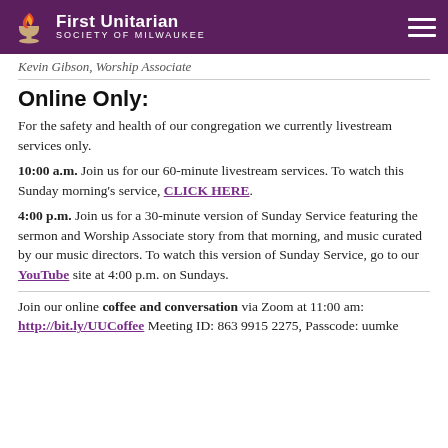First Unitarian Society of Milwaukee
Kevin Gibson, Worship Associate
Online Only:
For the safety and health of our congregation we currently livestream services only.
10:00 a.m. Join us for our 60-minute livestream services. To watch this Sunday morning's service, CLICK HERE.
4:00 p.m. Join us for a 30-minute version of Sunday Service featuring the sermon and Worship Associate story from that morning, and music curated by our music directors. To watch this version of Sunday Service, go to our YouTube site at 4:00 p.m. on Sundays.
Join our online coffee and conversation via Zoom at 11:00 am: http://bit.ly/UUCoffee Meeting ID: 863 9915 2275, Passcode: uumke